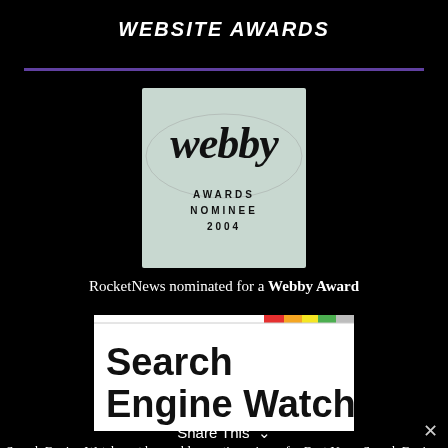WEBSITE AWARDS
[Figure (logo): Webby Awards Nominee 2004 badge - script text 'webby' with 'AWARDS NOMINEE 2004' below on light blue/grey background]
RocketNews nominated for a Webby Award
[Figure (logo): Search Engine Watch logo - bold black text on white background with colorful stripe bar at top right]
Search Engine Watch past honorable mention winner for Best News Search Engine.
Share This ∨